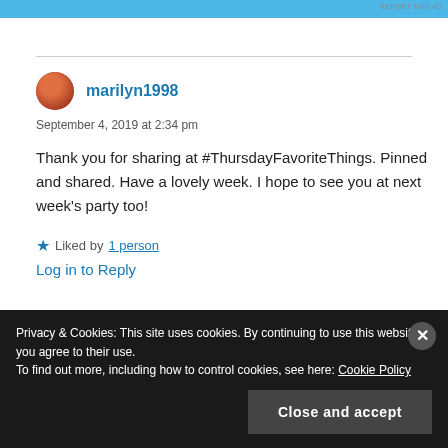REPORT THIS AD
marilyn1998
September 4, 2019 at 2:34 pm
Thank you for sharing at #ThursdayFavoriteThings. Pinned and shared. Have a lovely week. I hope to see you at next week’s party too!
Liked by 1 person
Log in to Reply
Privacy & Cookies: This site uses cookies. By continuing to use this website, you agree to their use. To find out more, including how to control cookies, see here: Cookie Policy
Close and accept